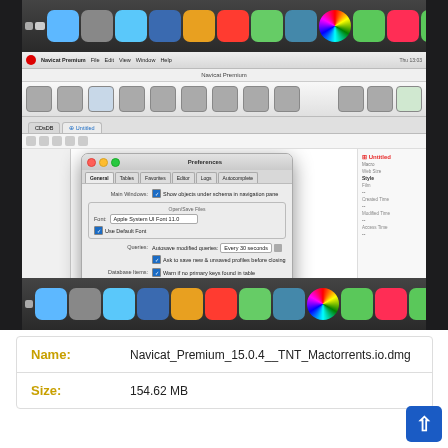[Figure (screenshot): Screenshot of Navicat Premium application on macOS with a Preferences modal dialog open, showing settings for main window display, open/save files, queries, database items, and updates. The macOS dock is visible at top and bottom.]
| Field | Value |
| --- | --- |
| Name: | Navicat_Premium_15.0.4__TNT_Mactorrents.io.dmg |
| Size: | 154.62 MB |